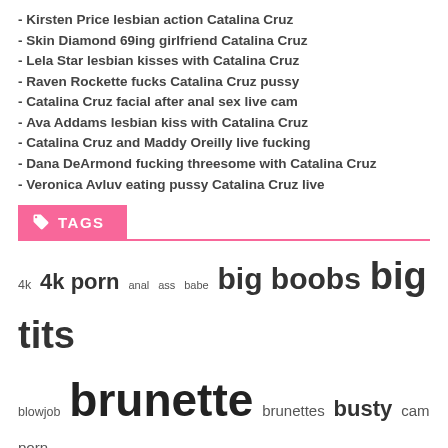- Kirsten Price lesbian action Catalina Cruz
- Skin Diamond 69ing girlfriend Catalina Cruz
- Lela Star lesbian kisses with Catalina Cruz
- Raven Rockette fucks Catalina Cruz pussy
- Catalina Cruz facial after anal sex live cam
- Ava Addams lesbian kiss with Catalina Cruz
- Catalina Cruz and Maddy Oreilly live fucking
- Dana DeArmond fucking threesome with Catalina Cruz
- Veronica Avluv eating pussy Catalina Cruz live
TAGS
4k  4k porn  anal  ass  babe  big boobs  big tits  blowjob  brunette  brunettes  busty  cam porn  catalinacruz  Catalina Cruz  catalina cruz 4k  cat cruz porn  deep throat  Enhanced Tits  Fantasy Girl  fat